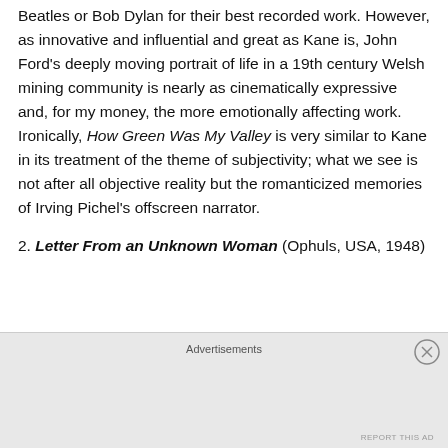Beatles or Bob Dylan for their best recorded work. However, as innovative and influential and great as Kane is, John Ford's deeply moving portrait of life in a 19th century Welsh mining community is nearly as cinematically expressive and, for my money, the more emotionally affecting work. Ironically, How Green Was My Valley is very similar to Kane in its treatment of the theme of subjectivity; what we see is not after all objective reality but the romanticized memories of Irving Pichel's offscreen narrator.
2. Letter From an Unknown Woman (Ophuls, USA, 1948)
[Figure (other): Advertisement bar with close button and 'Advertisements' label]